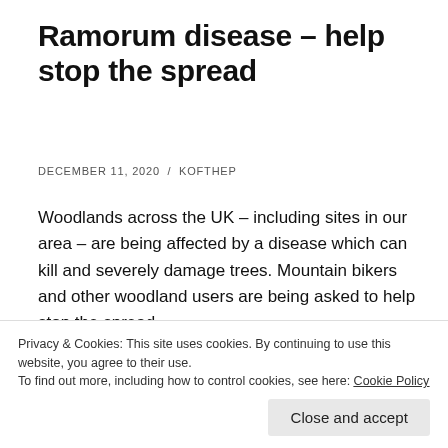Ramorum disease – help stop the spread
DECEMBER 11, 2020 / KOFTHEP
Woodlands across the UK – including sites in our area – are being affected by a disease which can kill and severely damage trees. Mountain bikers and other woodland users are being asked to help stop the spread.
[Figure (photo): Landscape photograph showing a treeline of conifers against a pale sky, with moorland in the foreground]
Privacy & Cookies: This site uses cookies. By continuing to use this website, you agree to their use.
To find out more, including how to control cookies, see here: Cookie Policy
Close and accept